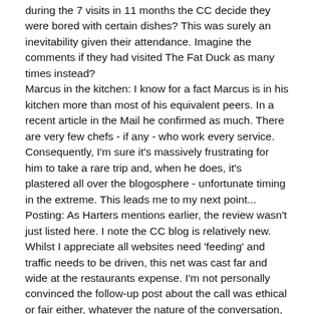during the 7 visits in 11 months the CC decide they were bored with certain dishes? This was surely an inevitability given their attendance. Imagine the comments if they had visited The Fat Duck as many times instead?
Marcus in the kitchen: I know for a fact Marcus is in his kitchen more than most of his equivalent peers. In a recent article in the Mail he confirmed as much. There are very few chefs - if any - who work every service. Consequently, I'm sure it's massively frustrating for him to take a rare trip and, when he does, it's plastered all over the blogosphere - unfortunate timing in the extreme. This leads me to my next point...
Posting: As Harters mentions earlier, the review wasn't just listed here. I note the CC blog is relatively new. Whilst I appreciate all websites need 'feeding' and traffic needs to be driven, this net was cast far and wide at the restaurants expense. I'm not personally convinced the follow-up post about the call was ethical or fair either, whatever the nature of the conversation, a call is a personal gesture, did it really need or deserve putting into the public domain? But, what notoriety the CC have now ensured the blog and themselves!
Objectivity: Food at this level is subjective, I am sure that the lamb and beef the CC mention as being unremarkable has been (or is)